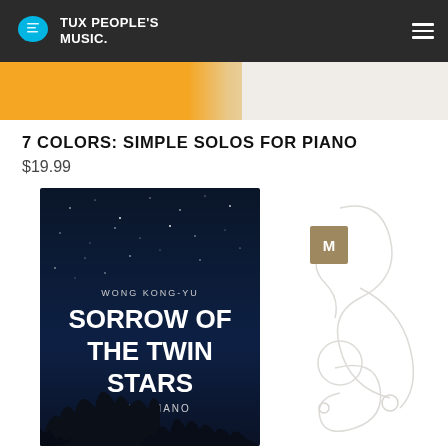TUX PEOPLE'S MUSIC
7 COLORS: SIMPLE SOLOS FOR PIANO
$19.99
[Figure (photo): Book cover showing star-filled night sky with tree silhouettes. Title reads: WONG KONG-YU / SORROW OF THE TWIN STARS / SOLO PIANO]
[Figure (illustration): Light gray decorative music note or treble clef watermark illustration with a small brown M badge overlay]